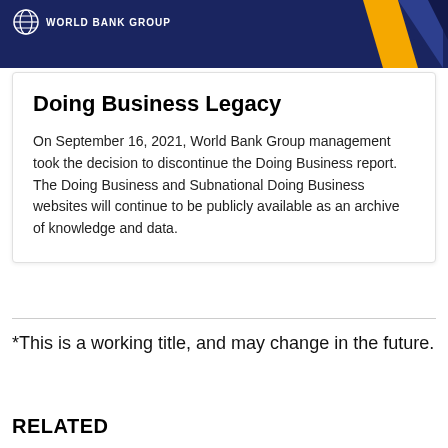WORLD BANK GROUP
Doing Business Legacy
On September 16, 2021, World Bank Group management took the decision to discontinue the Doing Business report. The Doing Business and Subnational Doing Business websites will continue to be publicly available as an archive of knowledge and data.
*This is a working title, and may change in the future.
RELATED